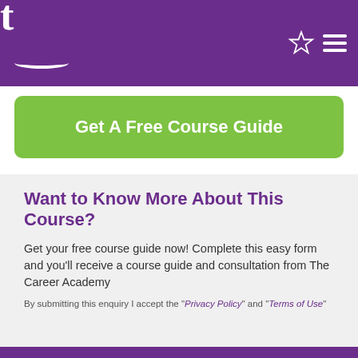t [logo with smile] [star icon] [menu icon]
Get A Free Course Guide
Want to Know More About This Course?
Get your free course guide now! Complete this easy form and you'll receive a course guide and consultation from The Career Academy
By submitting this enquiry I accept the "Privacy Policy" and "Terms of Use"